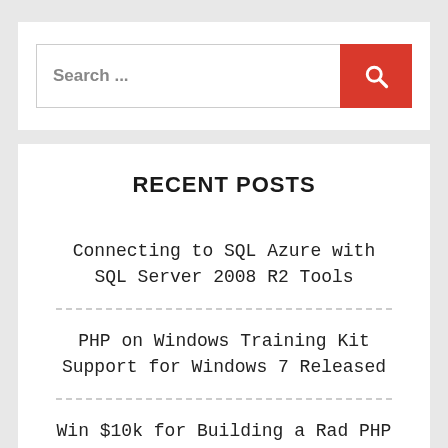[Figure (screenshot): Search bar with red search button containing a magnifying glass icon]
RECENT POSTS
Connecting to SQL Azure with SQL Server 2008 R2 Tools
PHP on Windows Training Kit Support for Windows 7 Released
Win $10k for Building a Rad PHP App on SQL Server